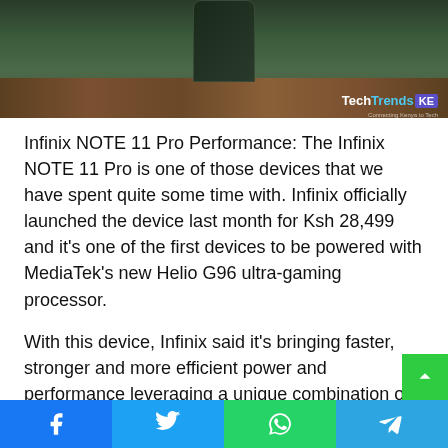[Figure (photo): Infinix NOTE 11 Pro smartphone standing on a wooden surface, seen from above against a dark green background. TechTrends KE logo in bottom right corner.]
Infinix NOTE 11 Pro Performance: The Infinix NOTE 11 Pro is one of those devices that we have spent quite some time with. Infinix officially launched the device last month for Ksh 28,499 and it's one of the first devices to be powered with MediaTek's new Helio G96 ultra-gaming processor.
With this device, Infinix said it's bringing faster, stronger and more efficient power and performance leveraging a unique combination of advanced technologies to create its impressive, yet affordab line of smartphones.